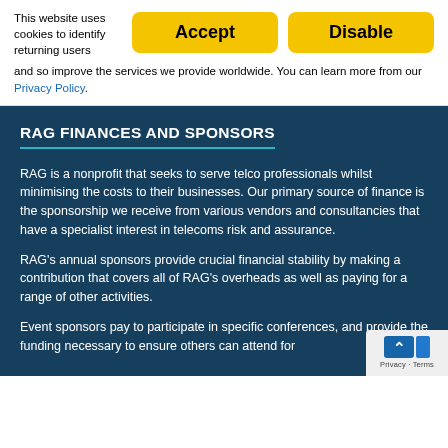This website uses cookies to identify returning users and so improve the services we provide worldwide. You can learn more from our Privacy Policy.
RAG FINANCES AND SPONSORS
RAG is a nonprofit that seeks to serve telco professionals whilst minimising the costs to their businesses. Our primary source of finance is the sponsorship we receive from various vendors and consultancies that have a specialist interest in telecoms risk and assurance.
RAG's annual sponsors provide crucial financial stability by making a contribution that covers all of RAG's overheads as well as paying for a range of other activities.
Event sponsors pay to participate in specific conferences, and provide the funding necessary to ensure others can attend for